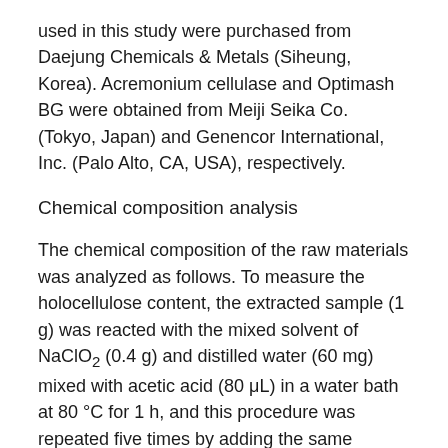used in this study were purchased from Daejung Chemicals & Metals (Siheung, Korea). Acremonium cellulase and Optimash BG were obtained from Meiji Seika Co. (Tokyo, Japan) and Genencor International, Inc. (Palo Alto, CA, USA), respectively.
Chemical composition analysis
The chemical composition of the raw materials was analyzed as follows. To measure the holocellulose content, the extracted sample (1 g) was reacted with the mixed solvent of NaClO₂ (0.4 g) and distilled water (60 mg) mixed with acetic acid (80 μL) in a water bath at 80 °C for 1 h, and this procedure was repeated five times by adding the same amount of NaClO₂ and acetic acid for complete removal of lignin. The delignified product was filtered, washed several times with distilled